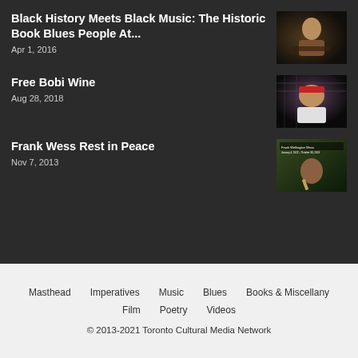Black History Meets Black Music: The Historic Book Blues People At...
Apr 1, 2016
[Figure (photo): A man speaking at a podium, dark background]
Free Bobi Wine
Aug 28, 2018
[Figure (photo): A man wearing a red cap, close-up portrait]
Frank Wess Rest in Peace
Nov 7, 2013
[Figure (photo): Frank Wellington Wess playing flute, with text overlay showing his name and dates]
Masthead   Imperatives   Music   Blues   Books & Miscellany   Film   Poetry   Videos
© 2013-2021 Toronto Cultural Media Network